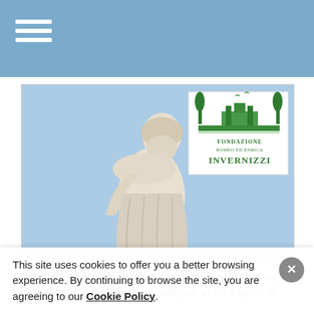Navigation menu header bar with hamburger icon
[Figure (photo): Photograph of a white marble statue of St. Maximus (a male figure in classical robes, looking upward) against a light blue sky. In the upper right corner is a white logo box for Fondazione Romeo ed Enrica Invernizzi with a green architectural/garden illustration above the text.]
The Greek Passio places the martyrdom of St. Maximus, Quintilian and Dada in the second year of the Empire of
This site uses cookies to offer you a better browsing experience. By continuing to browse the site, you are agreeing to our Cookie Policy.